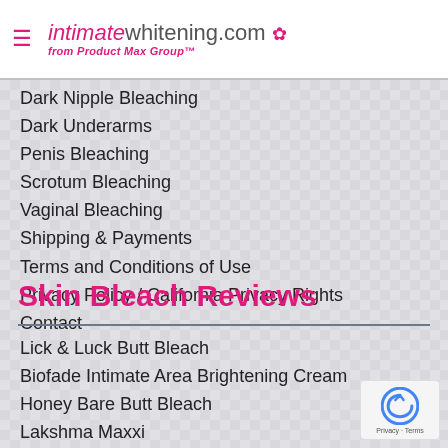intimatewhitening.com from Product Max Group™
Dark Nipple Bleaching
Dark Underarms
Penis Bleaching
Scrotum Bleaching
Vaginal Bleaching
Shipping & Payments
Terms and Conditions of Use
Privacy Policy / California Privacy Rights
Contact
Skin Bleach Reviews
Lick & Luck Butt Bleach
Biofade Intimate Area Brightening Cream
Honey Bare Butt Bleach
Lakshma Maxxi
Pink Privates™
Pink Daisy Personal Bleaching Cream